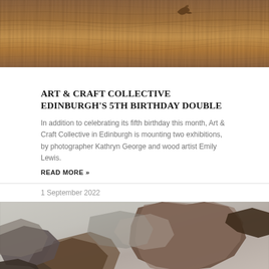[Figure (photo): Close-up photograph of a wooden surface with visible grain texture, warm brown tones, with a small bird-shaped wooden object visible in the upper right area.]
ART & CRAFT COLLECTIVE EDINBURGH'S 5TH BIRTHDAY DOUBLE
In addition to celebrating its fifth birthday this month, Art & Craft Collective in Edinburgh is mounting two exhibitions, by photographer Kathryn George and wood artist Emily Lewis.
READ MORE »
1 September 2022
[Figure (photo): Close-up photograph showing abstract layered stone or slate pieces in grey and brown tones on a light textured background.]